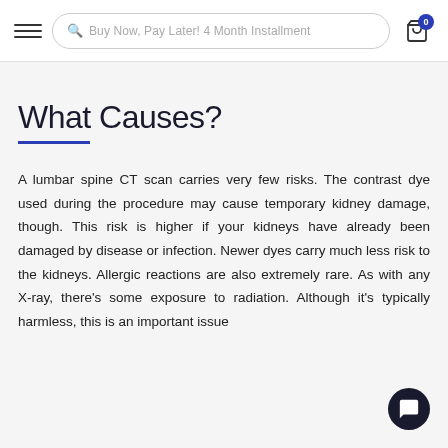Buy Now, Pay Later! 4 Month Installment
What Causes?
A lumbar spine CT scan carries very few risks. The contrast dye used during the procedure may cause temporary kidney damage, though. This risk is higher if your kidneys have already been damaged by disease or infection. Newer dyes carry much less risk to the kidneys. Allergic reactions are also extremely rare. As with any X-ray, there's some exposure to radiation. Although it's typically harmless, this is an important issue for